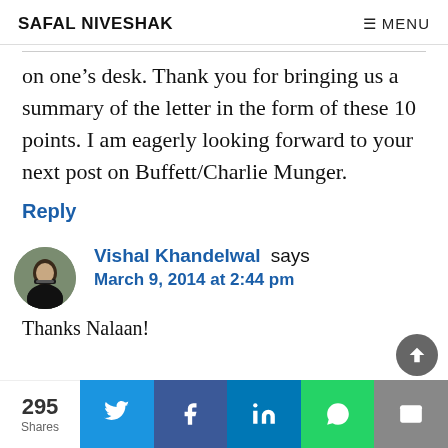SAFAL NIVESHAK    ≡ MENU
on one's desk. Thank you for bringing us a summary of the letter in the form of these 10 points. I am eagerly looking forward to your next post on Buffett/Charlie Munger.
Reply
Vishal Khandelwal says
March 9, 2014 at 2:44 pm
Thanks Nalaan!